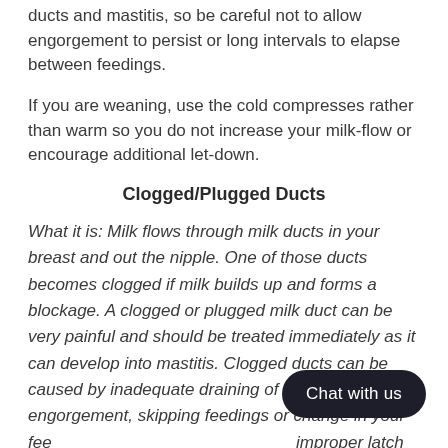ducts and mastitis, so be careful not to allow engorgement to persist or long intervals to elapse between feedings.
If you are weaning, use the cold compresses rather than warm so you do not increase your milk-flow or encourage additional let-down.
Clogged/Plugged Ducts
What it is: Milk flows through milk ducts in your breast and out the nipple. One of those ducts becomes clogged if milk builds up and forms a blockage. A clogged or plugged milk duct can be very painful and should be treated immediately as it can develop into mastitis. Clogged ducts can be caused by inadequate draining of the breast, engorgement, skipping feedings or change in your feeding schedule, improper latch or positioning, or wearing a bra or clothing that are too tight.